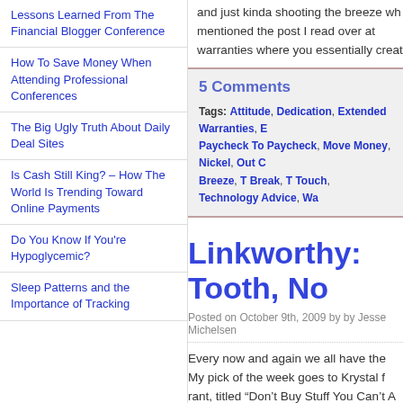Lessons Learned From The Financial Blogger Conference
How To Save Money When Attending Professional Conferences
The Big Ugly Truth About Daily Deal Sites
Is Cash Still King? – How The World Is Trending Toward Online Payments
Do You Know If You're Hypoglycemic?
Sleep Patterns and the Importance of Tracking
and just kinda shooting the breeze wh mentioned the post I read over at warranties where you essentially creat
5 Comments
Tags: Attitude, Dedication, Extended Warranties, E Paycheck To Paycheck, Move Money, Nickel, Out C Breeze, T Break, T Touch, Technology Advice, Wa
Linkworthy: Tooth, No
Posted on October 9th, 2009 by by Jesse Michelsen
Every now and again we all have the My pick of the week goes to Krystal f rant, titled "Don't Buy Stuff You Can't A to make yet complain about regularly.